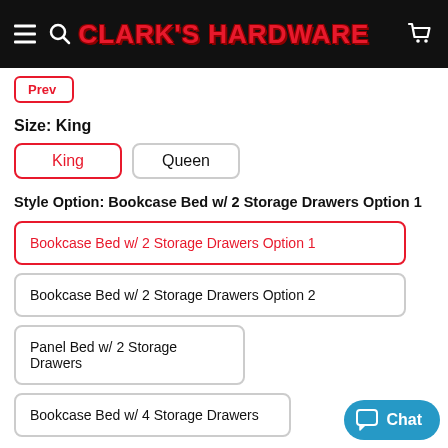CLARK'S HARDWARE
Prev
Size: King
King
Queen
Style Option: Bookcase Bed w/ 2 Storage Drawers Option 1
Bookcase Bed w/ 2 Storage Drawers Option 1
Bookcase Bed w/ 2 Storage Drawers Option 2
Panel Bed w/ 2 Storage Drawers
Bookcase Bed w/ 4 Storage Drawers